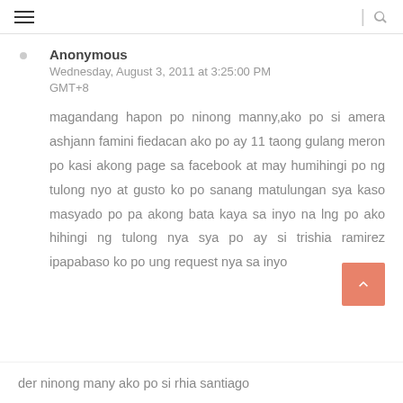≡ | 🔍
Anonymous
Wednesday, August 3, 2011 at 3:25:00 PM GMT+8
magandang hapon po ninong manny,ako po si amera ashjann famini fiedacan ako po ay 11 taong gulang meron po kasi akong page sa facebook at may humihingi po ng tulong nyo at gusto ko po sanang matulungan sya kaso masyado po pa akong bata kaya sa inyo na lng po ako hihingi ng tulong nya sya po ay si trishia ramirez ipapabaso ko po ung request nya sa inyo
der ninong many ako po si rhia santiago